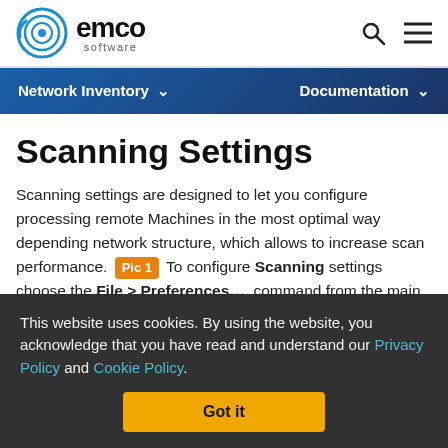emco software — Network Inventory | Documentation
Scanning Settings
Scanning settings are designed to let you configure processing remote Machines in the most optimal way depending network structure, which allows to increase scan performance. [Pic 1] To configure Scanning settings choose the File > Preferences… command from the main
This website uses cookies. By using the website, you acknowledge that you have read and understand our Privacy Policy and Cookie Policy.
Got it